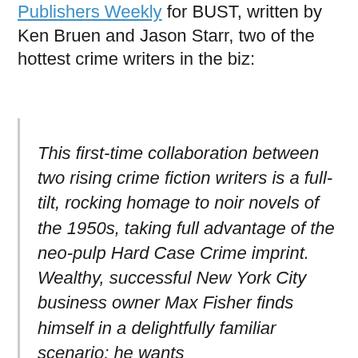Publishers Weekly for BUST, written by Ken Bruen and Jason Starr, two of the hottest crime writers in the biz:
This first-time collaboration between two rising crime fiction writers is a full-tilt, rocking homage to noir novels of the 1950s, taking full advantage of the neo-pulp Hard Case Crime imprint. Wealthy, successful New York City business owner Max Fisher finds himself in a delightfully familiar scenario: he wants